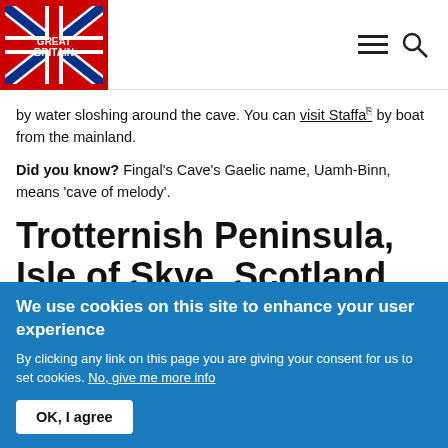Visit Great Britain — Navigation header with logo and menu/search icons
by water sloshing around the cave. You can visit Staffa by boat from the mainland.
Did you know? Fingal's Cave's Gaelic name, Uamh-Binn, means 'cave of melody'.
Trotternish Peninsula, Isle of Skye, Scotland
The most northerly of Skye's peninsulas boasts some spectacular geology. Take the easterly coast road to see the
We use cookies on this site to enhance your user experience
By clicking any link on this page you are giving your consent for us to set cookies. No, give me more info
OK, I agree